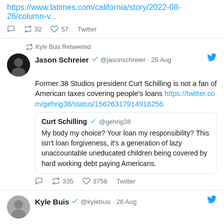https://www.latimes.com/california/story/2022-08-26/column-v...
32 retweets · 57 likes · Twitter
Kyle Buis Retweeted
Jason Schreier @jasonschreier · 25 Aug
Former 38 Studios president Curt Schilling is not a fan of American taxes covering people's loans https://twitter.com/gehrig38/status/15626317914918256
Curt Schilling @gehrig38 — My body my choice? Your loan my responsibility? This isn't loan forgiveness, it's a generation of lazy unaccountable uneducated children being covered by hard working debt paying Americans.
335 retweets · 3758 likes · Twitter
Kyle Buis @kylebuis · 26 Aug